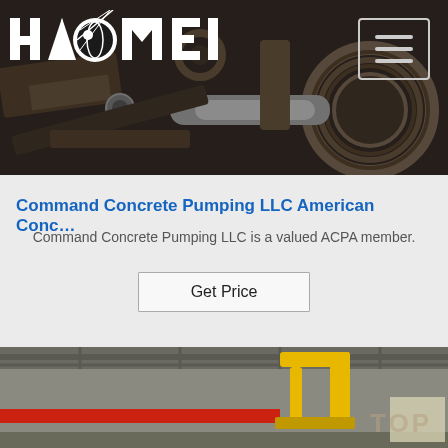[Figure (photo): Close-up photograph of industrial machinery parts — metal gears, pulleys and mechanical components in a dark workshop setting. HAOMEI logo in white top-left, hamburger menu icon top-right.]
Command Concrete Pumping LLC American Conc…
Command Concrete Pumping LLC is a valued ACPA member.
Get Price
[Figure (photo): Interior of an industrial warehouse or factory with a yellow construction boom/crane visible, red horizontal beam, concrete floor, steel roof structure. 'TOP' watermark text visible at right.]